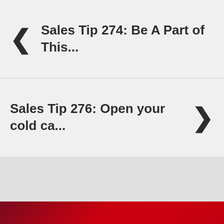< Sales Tip 274: Be A Part of This...
Sales Tip 276: Open your cold ca... >
[Figure (other): Red gradient band with partial play button icon visible at bottom center]